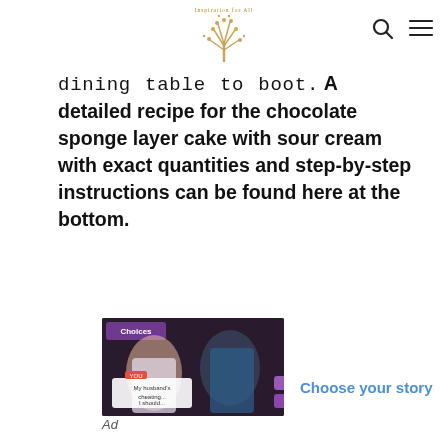Inspiration for All — navigation header with logo, search icon, and menu icon
dining table to boot. A detailed recipe for the chocolate sponge layer cake with sour cream with exact quantities and step-by-step instructions can be found here at the bottom.
[Figure (photo): Advertisement image showing an illustrated romantic scene with two animated characters, with UI buttons and a game logo 'Choices']
Choose your story
Ad